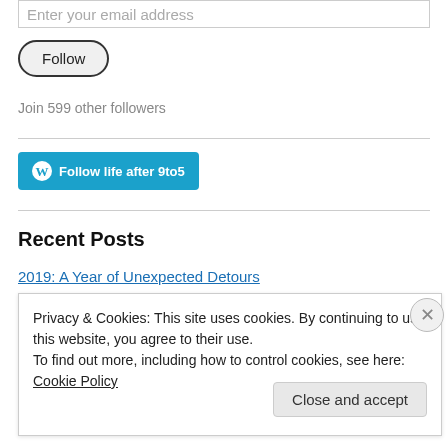Enter your email address
[Figure (other): Follow button — rounded pill-shaped button with label 'Follow']
Join 599 other followers
[Figure (other): WordPress 'Follow life after 9to5' button with WordPress logo, teal background]
Recent Posts
2019: A Year of Unexpected Detours
Privacy & Cookies: This site uses cookies. By continuing to use this website, you agree to their use.
To find out more, including how to control cookies, see here: Cookie Policy
Close and accept